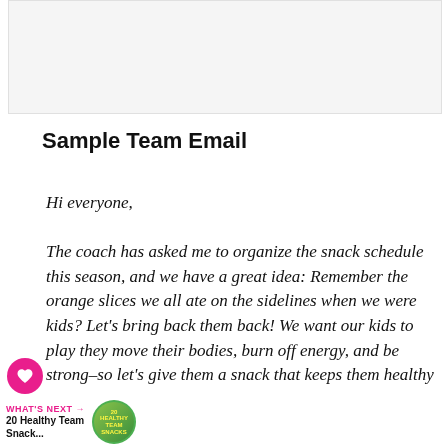[Figure (photo): Light gray placeholder image area at top of page]
Sample Team Email
Hi everyone,
The coach has asked me to organize the snack schedule this season, and we have a great idea: Remember the orange slices we all ate on the sidelines when we were kids? Let's bring back them back! We want our kids to play they move their bodies, burn off energy, and be strong–so let's give them a snack that keeps them healthy